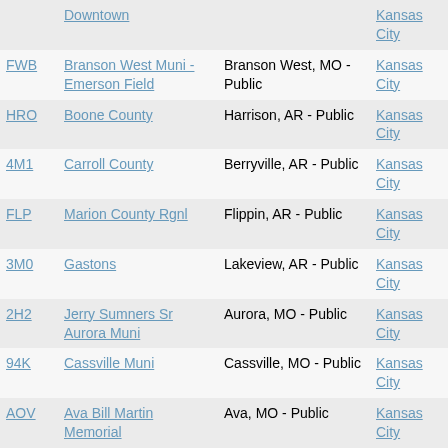| Code | Name | Location | Region | Distance |
| --- | --- | --- | --- | --- |
|  | Downtown |  | Kansas City |  |
| FWB | Branson West Muni - Emerson Field | Branson West, MO - Public | Kansas City | 16 miles |
| HRO | Boone County | Harrison, AR - Public | Kansas City | 19 miles |
| 4M1 | Carroll County | Berryville, AR - Public | Kansas City | 26 miles |
| FLP | Marion County Rgnl | Flippin, AR - Public | Kansas City | 38 miles |
| 3M0 | Gastons | Lakeview, AR - Public | Kansas City | 38 miles |
| 2H2 | Jerry Sumners Sr Aurora Muni | Aurora, MO - Public | Kansas City | 40 miles |
| 94K | Cassville Muni | Cassville, MO - Public | Kansas City | 40 miles |
| AOV | Ava Bill Martin Memorial | Ava, MO - Public | Kansas City | 42 miles |
| BPK | Baxter County | Mountain Home, AR - Public | Kansas City | 42 miles |
| H34 | Huntsville Muni | Huntsville, AR - Public | Kansas City | 44 miles |